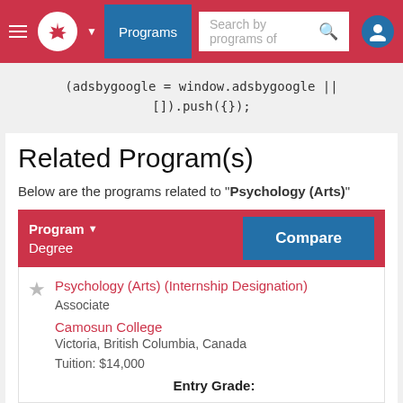[Figure (screenshot): Navigation bar with hamburger menu, maple leaf logo, Programs button, search bar, and user icon on a red background]
(adsbygoogle = window.adsbygoogle || []).push({});
Related Program(s)
Below are the programs related to "Psychology (Arts)"
| Program / Degree | Compare |
| --- | --- |
| Psychology (Arts) (Internship Designation)
Associate
Camosun College
Victoria, British Columbia, Canada
Tuition: $14,000
Entry Grade: |  |